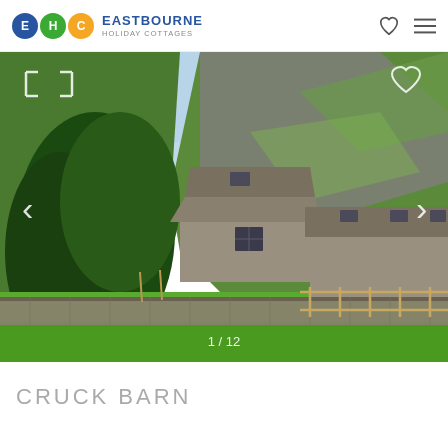EASTBOURNE HOLIDAY COTTAGES
[Figure (photo): Exterior photograph of Cruck Barn, a stone farmhouse with slate roof set in a green valley with a steep grassy hillside behind, surrounded by dry stone walls and wooden fencing. Image counter shows 1/12.]
CRUCK BARN